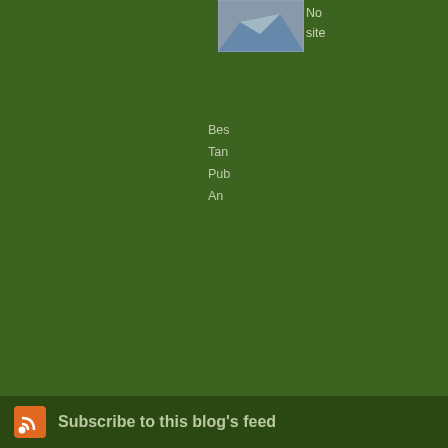[Figure (screenshot): Blog sidebar screenshot with green background. Shows truncated text including 'No... site...', metadata lines starting with 'Bes...', 'Tan...', 'Pub...', 'An...', a comments bar reading 'The comments to t...', a post card with 'What to Make? I c... the store yesterday... even though I was...', and a footer with RSS icon and 'Subscribe to this blog’s feed']
Subscribe to this blog’s feed